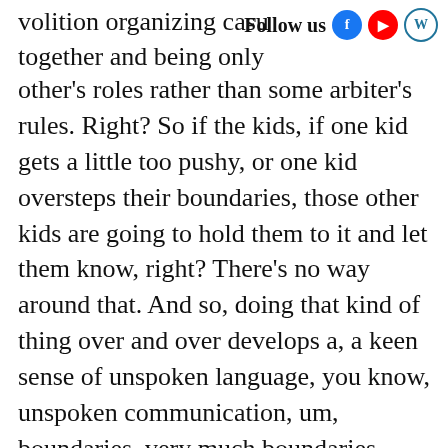volition organizing casu together and being only    Follow us
other’s roles rather than some arbiter’s rules. Right? So if the kids, if one kid gets a little too pushy, or one kid oversteps their boundaries, those other kids are going to hold them to it and let them know, right? There’s no way around that. And so, doing that kind of thing over and over develops a, a keen sense of unspoken language, you know, unspoken communication, um, boundaries, very much boundaries, right? Because if you can’t be in the game, like in